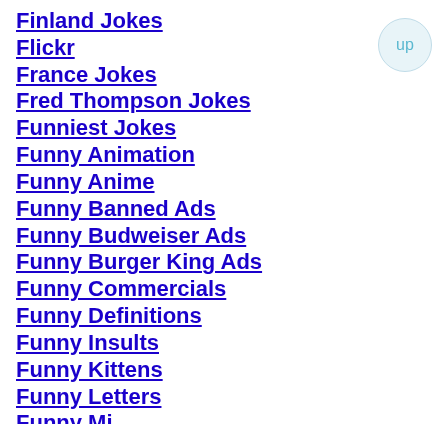Finland Jokes
Flickr
France Jokes
Fred Thompson Jokes
Funniest Jokes
Funny Animation
Funny Anime
Funny Banned Ads
Funny Budweiser Ads
Funny Burger King Ads
Funny Commercials
Funny Definitions
Funny Insults
Funny Kittens
Funny Letters
Funny Minecraft (partial)